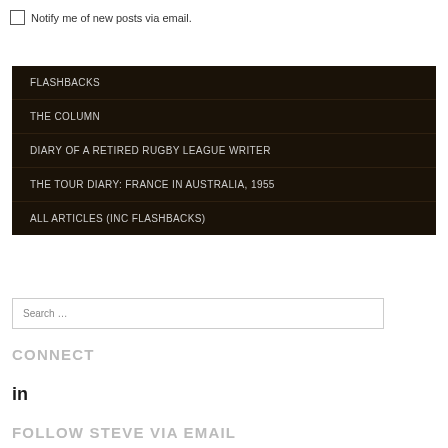Notify me of new posts via email.
FLASHBACKS
THE COLUMN
DIARY OF A RETIRED RUGBY LEAGUE WRITER
THE TOUR DIARY: FRANCE IN AUSTRALIA, 1955
ALL ARTICLES (INC FLASHBACKS)
Search …
CONNECT
[Figure (logo): LinkedIn icon]
FOLLOW STEVE VIA EMAIL